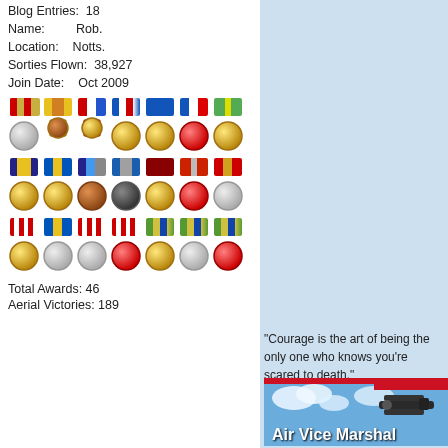Blog Entries: 18
Name: Rob.
Location: Notts.
Sorties Flown: 38,927
Join Date: Oct 2009
[Figure (illustration): 21 military medals arranged in 3 rows of 7, each showing a ribbon and a circular/cross-shaped medal disc]
Total Awards: 46
Aerial Victories: 189
"Courage is the art of being the only one who knows you're scared to death."
[Figure (illustration): Air Vice Marshal rank banner showing a WWI biplane against a blue sky with clouds, with bold white text reading 'Air Vice Marshal']